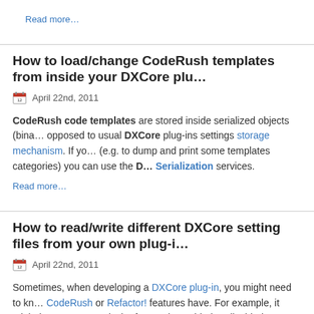Read more…
How to load/change CodeRush templates from inside your DXCore plu…
April 22nd, 2011
CodeRush code templates are stored inside serialized objects (bina… opposed to usual DXCore plug-ins settings storage mechanism. If yo… (e.g. to dump and print some templates categories) you can use the D… Serialization services.
Read more…
How to read/write different DXCore setting files from your own plug-i…
April 22nd, 2011
Sometimes, when developing a DXCore plug-in, you might need to kn… CodeRush or Refactor! features have. For example, it might be neces… particular feature is enabled or disabled to not intersect with it; or cha… settings from inside your own plug-in. This way, you can tweak any se… without opening the Options Dialog.